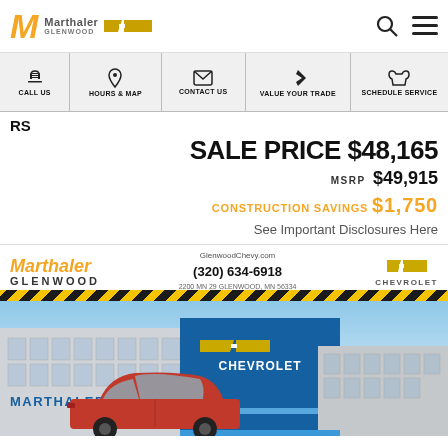Marthaler Glenwood Chevrolet
CALL US | HOURS & MAP | CONTACT US | VALUE YOUR TRADE | SCHEDULE SERVICE
RS
SALE PRICE $48,165
MSRP $49,915
CONSTRUCTION SAVINGS $1,750
See Important Disclosures Here
[Figure (photo): Marthaler Glenwood Chevrolet dealership exterior with red SUV in front. Blue and white building facade with MARTHALER and CHEVROLET signage. Yellow/black construction stripe banner. GlenwoodChevy.com (320) 634-6918, 2200 MN 29 GLENWOOD, MN 56334.]